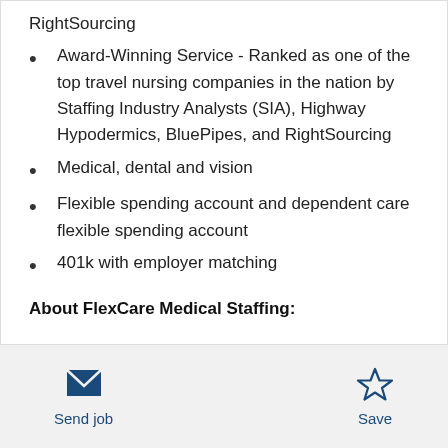RightSourcing
Award-Winning Service - Ranked as one of the top travel nursing companies in the nation by Staffing Industry Analysts (SIA), Highway Hypodermics, BluePipes, and RightSourcing
Medical, dental and vision
Flexible spending account and dependent care flexible spending account
401k with employer matching
About FlexCare Medical Staffing:
Send job | Save